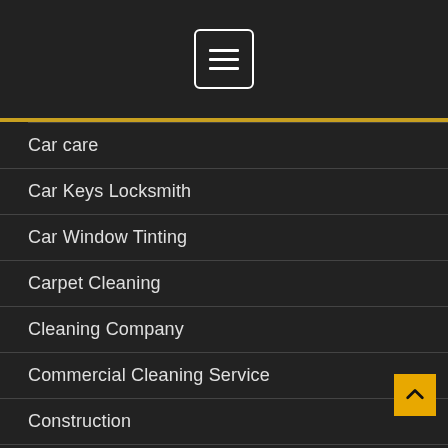[Figure (other): Hamburger menu button icon with three horizontal white lines in a white-bordered rounded rectangle, centered in dark header]
Car care
Car Keys Locksmith
Car Window Tinting
Carpet Cleaning
Cleaning Company
Commercial Cleaning Service
Construction
Daycare
Divorce Lawyer
Dryer Vent Cleaning
Education